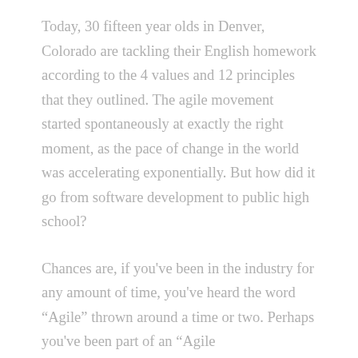Today, 30 fifteen year olds in Denver, Colorado are tackling their English homework according to the 4 values and 12 principles that they outlined. The agile movement started spontaneously at exactly the right moment, as the pace of change in the world was accelerating exponentially. But how did it go from software development to public high school?
Chances are, if you've been in the industry for any amount of time, you've heard the word “Agile” thrown around a time or two. Perhaps you've been part of an “Agile Transformation” or you have attended a certification course for Scrum or Kanban.
In the 20 years since the Manifesto for Agile